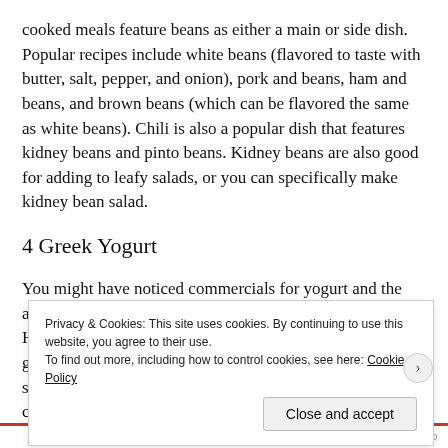cooked meals feature beans as either a main or side dish. Popular recipes include white beans (flavored to taste with butter, salt, pepper, and onion), pork and beans, ham and beans, and brown beans (which can be flavored the same as white beans). Chili is also a popular dish that features kidney beans and pinto beans. Kidney beans are also good for adding to leafy salads, or you can specifically make kidney bean salad.
4 Greek Yogurt
You might have noticed commercials for yogurt and the advertising might have mentioned the protein factor. However, walk past the regular yogurt and pick up the greek yogurt. It is s c
Privacy & Cookies: This site uses cookies. By continuing to use this website, you agree to their use.
To find out more, including how to control cookies, see here: Cookie Policy
Close and accept